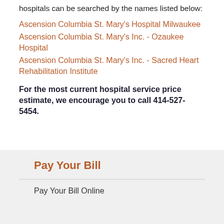hospitals can be searched by the names listed below:
Ascension Columbia St. Mary's Hospital Milwaukee
Ascension Columbia St. Mary's Inc. - Ozaukee Hospital
Ascension Columbia St. Mary's Inc. - Sacred Heart Rehabilitation Institute
For the most current hospital service price estimate, we encourage you to call 414-527-5454.
Pay Your Bill
Pay Your Bill Online